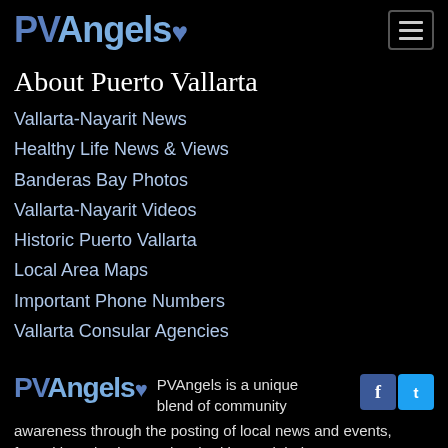PVAngels
About Puerto Vallarta
Vallarta-Nayarit News
Healthy Life News & Views
Banderas Bay Photos
Vallarta-Nayarit Videos
Historic Puerto Vallarta
Local Area Maps
Important Phone Numbers
Vallarta Consular Agencies
PVAngels is a unique blend of community awareness through the posting of local news and events, formal introductions to the charities and their